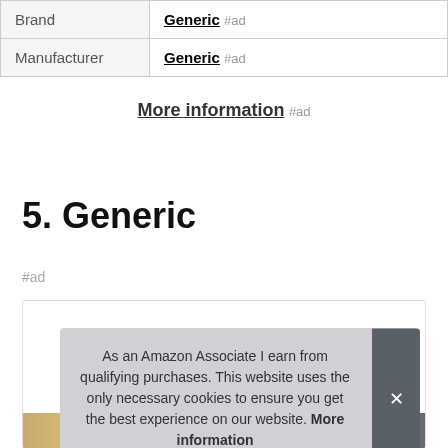| Brand | Generic #ad |
| Manufacturer | Generic #ad |
More information #ad
5. Generic
#ad
As an Amazon Associate I earn from qualifying purchases. This website uses the only necessary cookies to ensure you get the best experience on our website. More information